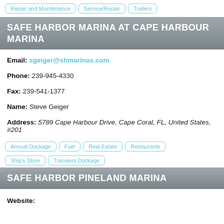Repair and Maintenance | Service/Repair | Trailers
SAFE HARBOR MARINA AT CAPE HARBOUR MARINA
Email: sgeiger@shmarinas.com
Phone: 239-945-4330
Fax: 239-541-1377
Name: Steve Geiger
Address: 5789 Cape Harbour Drive, Cape Coral, FL, United States, #201
Annual Dockage | Fuel | Real Estate | Restaurants | Ship's Store | Transient Dockage
SAFE HARBOR PINELAND MARINA
Website: